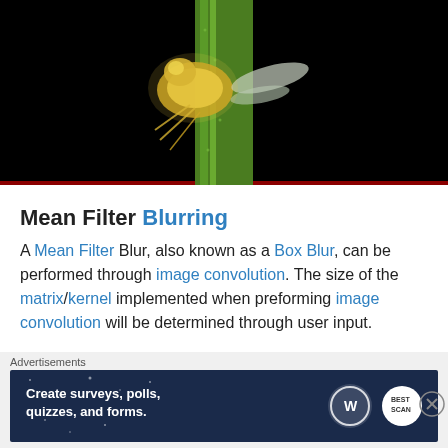[Figure (photo): Close-up macro photograph of an insect (appears to be a small fly or mite) on a green plant stem, with black background and golden/yellow luminous coloring on the insect]
Mean Filter Blurring
A Mean Filter Blur, also known as a Box Blur, can be performed through image convolution. The size of the matrix/kernel implemented when preforming image convolution will be determined through user input.
Advertisements
[Figure (screenshot): Advertisement banner: 'Create surveys, polls, quizzes, and forms.' with WordPress and Best logo icons on dark blue starry background]